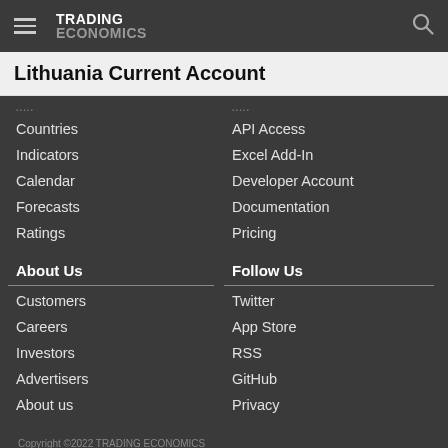TRADING ECONOMICS
Lithuania Current Account
Countries
Indicators
Calendar
Forecasts
Ratings
API Access
Excel Add-In
Developer Account
Documentation
Pricing
About Us
Follow Us
Customers
Careers
Investors
Advertisers
About us
Twitter
App Store
RSS
GitHub
Privacy
Copyright ©2022 TRADING ECONOMICS
All Rights Reserved